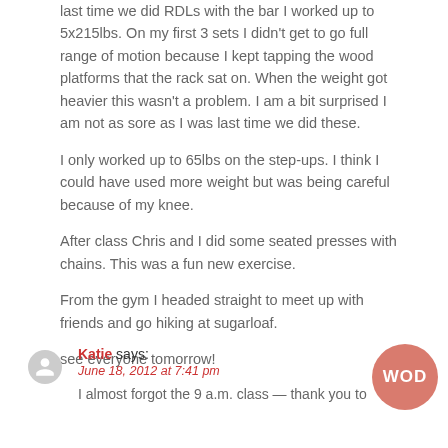last time we did RDLs with the bar I worked up to 5x215lbs. On my first 3 sets I didn't get to go full range of motion because I kept tapping the wood platforms that the rack sat on. When the weight got heavier this wasn't a problem. I am a bit surprised I am not as sore as I was last time we did these.
I only worked up to 65lbs on the step-ups. I think I could have used more weight but was being careful because of my knee.
After class Chris and I did some seated presses with chains. This was a fun new exercise.
From the gym I headed straight to meet up with friends and go hiking at sugarloaf.
see everyone tomorrow!
Katie says: June 18, 2012 at 7:41 pm — I almost forgot the 9 a.m. class — thank you to